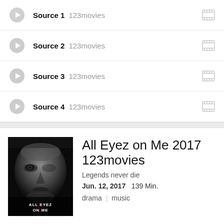Source 1   123movies
Source 2   123movies
Source 3   123movies
Source 4   123movies
[Figure (photo): Movie poster for All Eyez on Me 2017, black and white close-up of a man's face with text 'ALL EYEZ ON ME' at the bottom]
All Eyez on Me 2017
123movies
Legends never die
Jun. 12, 2017   139 Min.
drama   music